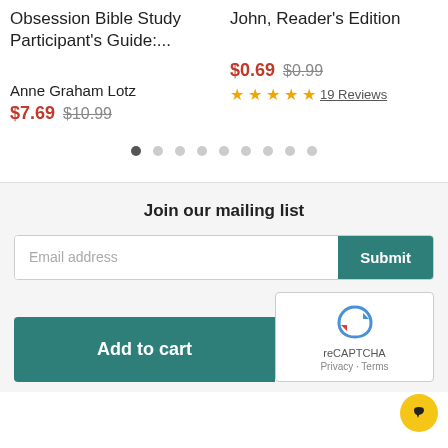Obsession Bible Study Participant's Guide:...
John, Reader's Edition
Anne Graham Lotz
$7.69  $10.99
$0.69  $0.99
19 Reviews
Join our mailing list
Email address
Submit
Add to cart
[Figure (logo): reCAPTCHA logo with Privacy and Terms links]
[Figure (illustration): Yellow circular chat button with dark speech bubble icon]